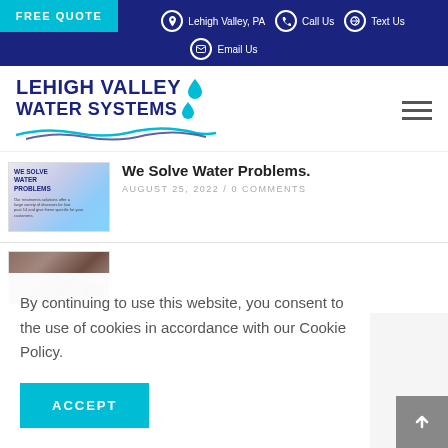FREE QUOTE | Lehigh Valley, PA | Call Us | Text Us | Email Us
[Figure (logo): Lehigh Valley Water Systems logo with water drop icon and wave graphic]
We Solve Water Problems.
AUGUST 25, 2022 / 0 COMMENTS
[Figure (photo): Thumbnail image of a blog post, brownish/wood colored]
By continuing to use this website, you consent to the use of cookies in accordance with our Cookie Policy.
ACCEPT